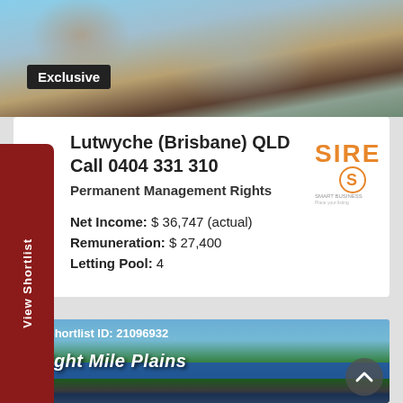[Figure (photo): Outdoor dining table with candles and wire dome structures on a wooden deck, evening ambiance]
Exclusive
[Figure (logo): SIRE real estate logo in orange and grey]
Lutwyche (Brisbane) QLD
Call 0404 331 310
Permanent Management Rights
Net Income: $ 36,747 (actual)
Remuneration: $ 27,400
Letting Pool: 4
View Shortlist
[Figure (photo): Eight Mile Plains suburban sign with trees and blue sky, commercial street]
Shortlist ID: 21096932